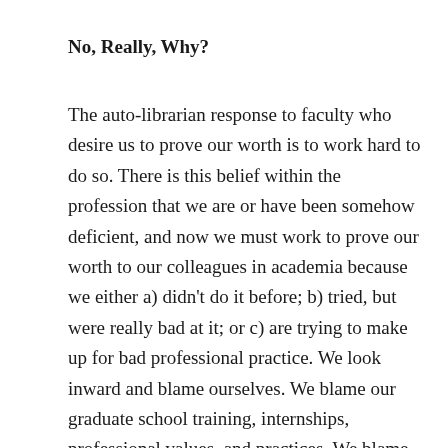No, Really, Why?
The auto-librarian response to faculty who desire us to prove our worth is to work hard to do so. There is this belief within the profession that we are or have been somehow deficient, and now we must work to prove our worth to our colleagues in academia because we either a) didn't do it before; b) tried, but were really bad at it; or c) are trying to make up for bad professional practice. We look inward and blame ourselves. We blame our graduate school training, internships, professional values, and practices. We blame our library administrators, librarian colleagues, predecessors, and librarians in training.